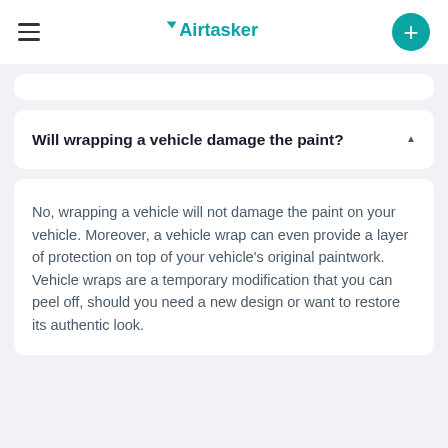Airtasker
Will wrapping a vehicle damage the paint?
No, wrapping a vehicle will not damage the paint on your vehicle. Moreover, a vehicle wrap can even provide a layer of protection on top of your vehicle's original paintwork. Vehicle wraps are a temporary modification that you can peel off, should you need a new design or want to restore its authentic look.